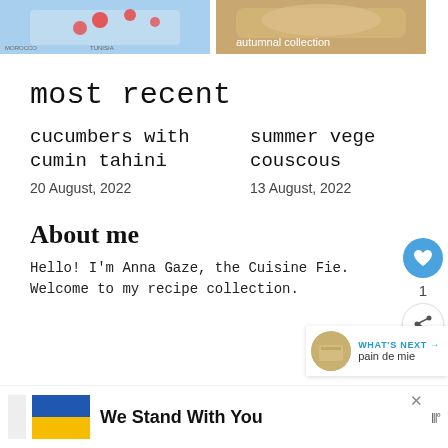[Figure (photo): Top left image showing a map with strawberries overlay]
[Figure (photo): Top right image showing food with label 'autumnal collection']
most recent
cucumbers with cumin tahini
20 August, 2022
summer vege couscous
13 August, 2022
About me
Hello! I'm Anna Gaze, the Cuisine Fie. Welcome to my recipe collection.
[Figure (infographic): WHAT'S NEXT arrow label with pain de mie thumbnail]
[Figure (infographic): Bottom banner: Ukrainian flag with 'We Stand With You' text]